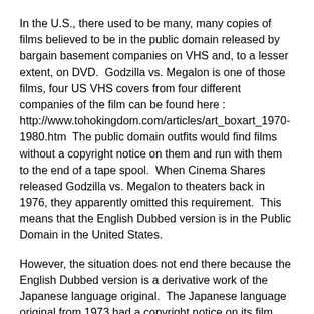In the U.S., there used to be many, many copies of films believed to be in the public domain released by bargain basement companies on VHS and, to a lesser extent, on DVD.  Godzilla vs. Megalon is one of those films, four US VHS covers from four different companies of the film can be found here : http://www.tohokingdom.com/articles/art_boxart_1970-1980.htm  The public domain outfits would find films without a copyright notice on them and run with them to the end of a tape spool.  When Cinema Shares released Godzilla vs. Megalon to theaters back in 1976, they apparently omitted this requirement.  This means that the English Dubbed version is in the Public Domain in the United States.
However, the situation does not end there because the English Dubbed version is a derivative work of the Japanese language original.  The Japanese language original from 1973 had a copyright notice on its film prints, so it is protected by both the US and Japanese law.  Copyright protection in a protected original work extends to a derivative work.  The "translation" of Godzilla vs. Megalon from Japanese to English is certainly a derivative work.  By contrast, parodies and other fair uses are not subject to the original copyright holder's control.  Toho did not really attempt to enforce its rights until the DVD era for reasons unknown but likely because it would have simply have been too expensive to sue for